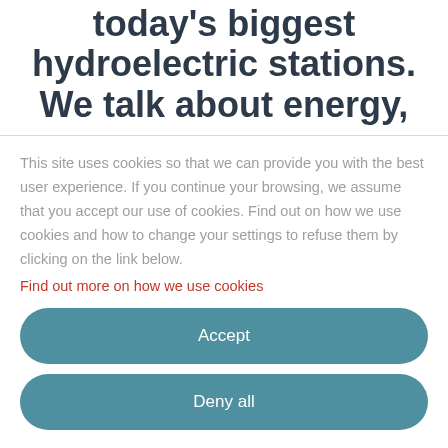today's biggest hydroelectric stations. We talk about energy,
This site uses cookies so that we can provide you with the best user experience. If you continue your browsing, we assume that you accept our use of cookies. Find out on how we use cookies and how to change your settings to refuse them by clicking on the link below.
Find out more on how we use cookies
Accept
Deny all